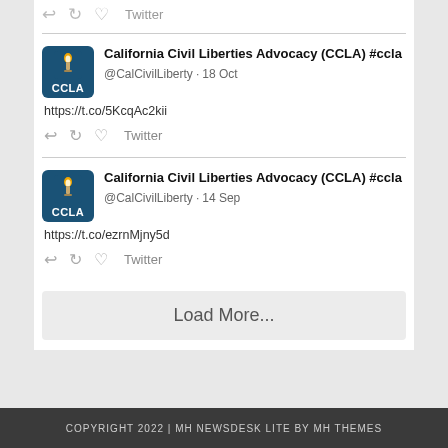[Figure (screenshot): Top portion of a Twitter/social media feed widget showing partial action icons (reply, retweet, like) and 'Twitter' label from a previous tweet, cut off at top of page.]
California Civil Liberties Advocacy (CCLA) #ccla @CalCivilLiberty · 18 Oct https://t.co/5KcqAc2kii Twitter
California Civil Liberties Advocacy (CCLA) #ccla @CalCivilLiberty · 14 Sep https://t.co/ezrnMjny5d Twitter
Load More...
COPYRIGHT 2022 | MH NEWSDESK LITE BY MH THEMES